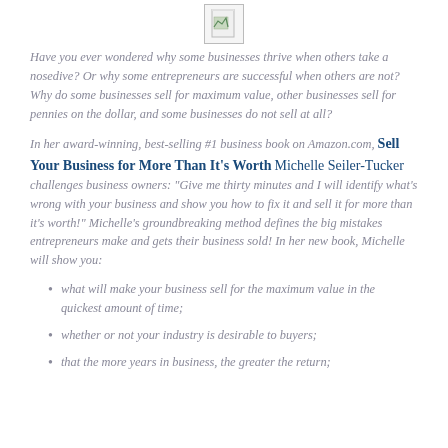[Figure (other): Document icon with image placeholder]
Have you ever wondered why some businesses thrive when others take a nosedive? Or why some entrepreneurs are successful when others are not? Why do some businesses sell for maximum value, other businesses sell for pennies on the dollar, and some businesses do not sell at all?
In her award-winning, best-selling #1 business book on Amazon.com, Sell Your Business for More Than It's Worth, Michelle Seiler-Tucker challenges business owners: "Give me thirty minutes and I will identify what's wrong with your business and show you how to fix it and sell it for more than it's worth!" Michelle's groundbreaking method defines the big mistakes entrepreneurs make and gets their business sold! In her new book, Michelle will show you:
what will make your business sell for the maximum value in the quickest amount of time;
whether or not your industry is desirable to buyers;
that the more years in business, the greater the return;